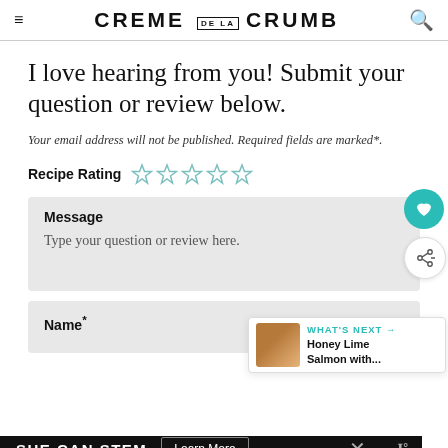CREME DE LA CRUMB
I love hearing from you! Submit your question or review below.
Your email address will not be published. Required fields are marked*.
Recipe Rating ☆☆☆☆☆
Message
Type your question or review here.
Name*
WHAT'S NEXT → Honey Lime Salmon with...
SHE CAN STEM  Learn More